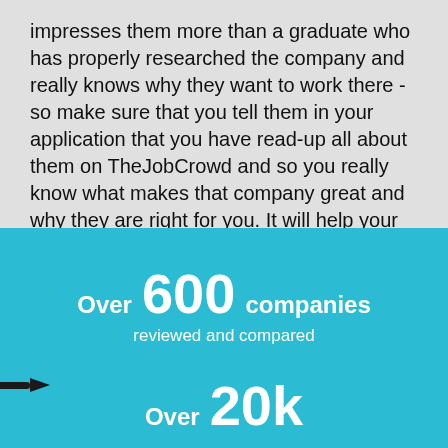impresses them more than a graduate who has properly researched the company and really knows why they want to work there - so make sure that you tell them in your application that you have read-up all about them on TheJobCrowd and so you really know what makes that company great and why they are right for you. It will help your application, we promise!
Over 600 companies reviewed and compared
Over 20k